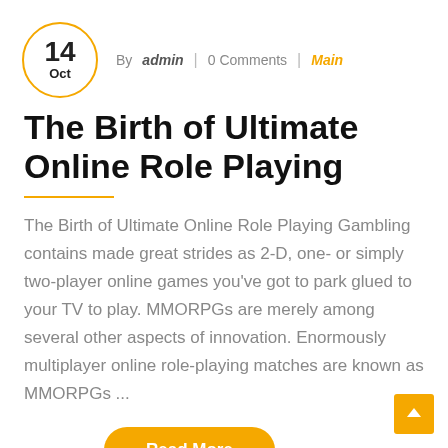14 Oct | By admin | 0 Comments | Main
The Birth of Ultimate Online Role Playing
The Birth of Ultimate Online Role Playing Gambling contains made great strides as 2-D, one- or simply two-player online games you've got to park glued to your TV to play. MMORPGs are merely among several other aspects of innovation. Enormously multiplayer online role-playing matches are known as MMORPGs ...
Read More